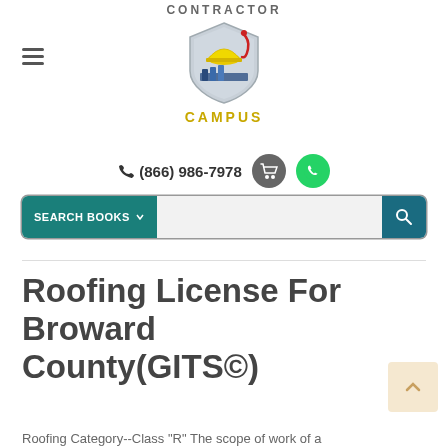CONTRACTOR
[Figure (logo): Contractor Campus logo: shield with yellow hard hat and books, with a red diploma ribbon]
CAMPUS
(866) 986-7978
Roofing License For Broward County(GITS©)
Roofing Category--Class "R" The scope of work of a